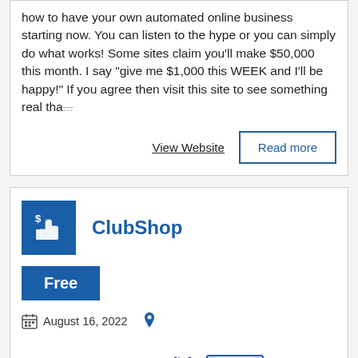how to have your own automated online business starting now. You can listen to the hype or you can simply do what works! Some sites claim you'll make $50,000 this month. I say "give me $1,000 this WEEK and I'll be happy!" If you agree then visit this site to see something real tha...
View Website
Read more
ClubShop
Free
August 16, 2022
[Figure (illustration): Product images showing hats, t-shirts, hoodies and branded apparel for ClubShop]